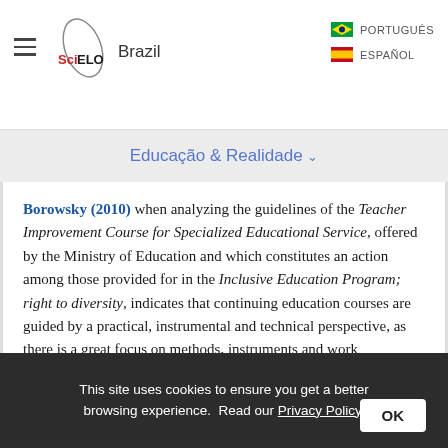SciELO Brazil — PORTUGUÊS / ESPAÑOL
Educação & Realidade
Borowsky (2010) when analyzing the guidelines of the Teacher Improvement Course for Specialized Educational Service, offered by the Ministry of Education and which constitutes an action among those provided for in the Inclusive Education Program; right to diversity, indicates that continuing education courses are guided by a practical, instrumental and technical perspective, as there is a great focus on methods, instruments and work techniques in the AEE, reducing the teacher's work to practical functions. The first edition of the course
This site uses cookies to ensure you get a better browsing experience. Read our Privacy Policy.